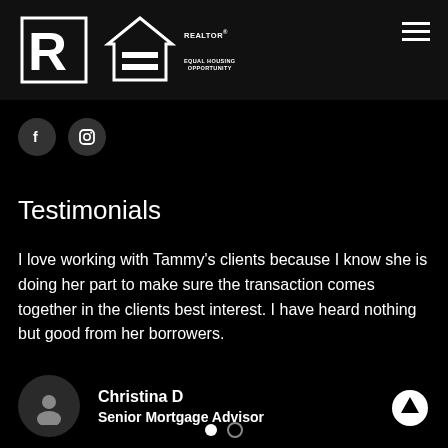[Figure (logo): Realtor logo and Equal Housing Opportunity logo on black background header]
[Figure (other): Social media icons: Facebook and Instagram circles]
Testimonials
I love working with Tammy's clients because I know she is doing her part to make sure the transaction comes together in the clients best interest. I have heard nothing but good from her borrowers.
Christina D
Senior Mortgage Advisor